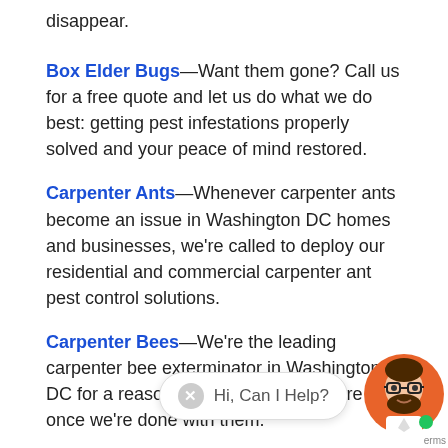disappear.
Box Elder Bugs—Want them gone? Call us for a free quote and let us do what we do best: getting pest infestations properly solved and your peace of mind restored.
Carpenter Ants—Whenever carpenter ants become an issue in Washington DC homes and businesses, we're called to deploy our residential and commercial carpenter ant pest control solutions.
Carpenter Bees—We're the leading carpenter bee exterminator in Washington DC for a reason: they're no longer there once we're done with them.
Cockroaches—In Heights MD Washington DC areas, cockroaches pe hard time. Our treatment process for these pests is
[Figure (screenshot): Chat widget overlay showing avatar of a man with glasses and beard, a chat bubble saying 'Hi, Can I Help?' with a close (X) button, and a 'terms' label at bottom right.]